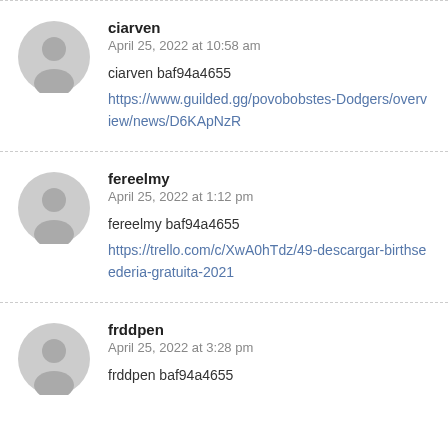ciarven
April 25, 2022 at 10:58 am
ciarven baf94a4655
https://www.guilded.gg/povobobstes-Dodgers/overview/news/D6KApNzR
fereelmy
April 25, 2022 at 1:12 pm
fereelmy baf94a4655
https://trello.com/c/XwA0hTdz/49-descargar-birthseederia-gratuita-2021
frddpen
April 25, 2022 at 3:28 pm
frddpen baf94a4655